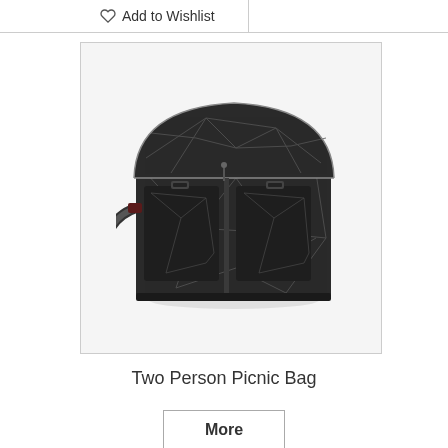Add to Wishlist
[Figure (photo): A black picnic bag with gray web/scratch pattern design, front pockets, buckle straps and a shoulder strap, shown on white background.]
Two Person Picnic Bag
More